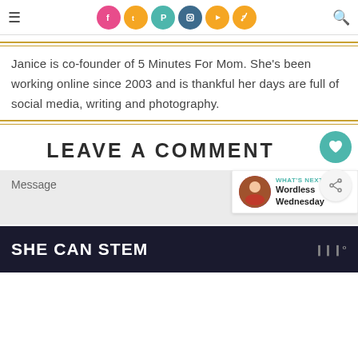Social media navigation header with hamburger menu, social icons (Facebook, Twitter, Pinterest, Instagram, YouTube, RSS), and search icon
Janice is co-founder of 5 Minutes For Mom. She's been working online since 2003 and is thankful her days are full of social media, writing and photography.
LEAVE A COMMENT
Message
WHAT'S NEXT → Wordless Wednesday
[Figure (other): SHE CAN STEM advertisement banner with dark background and white bold text, plus a small logo on the right]